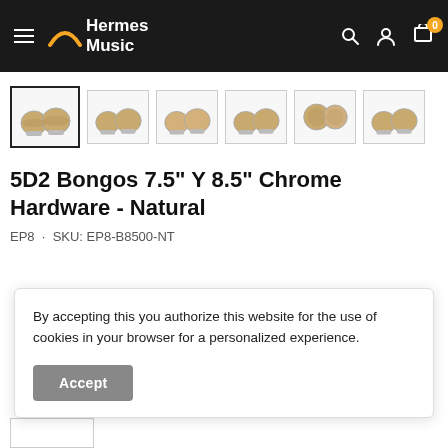Hermes Music
[Figure (photo): Six thumbnail images of LP 5D2 Bongos in natural finish with chrome hardware, shown from different angles. First thumbnail is selected/highlighted with a border.]
5D2 Bongos 7.5" Y 8.5" Chrome Hardware - Natural
EP8 · SKU: EP8-B8500-NT
By accepting this you authorize this website for the use of cookies in your browser for a personalized experience.
Accept